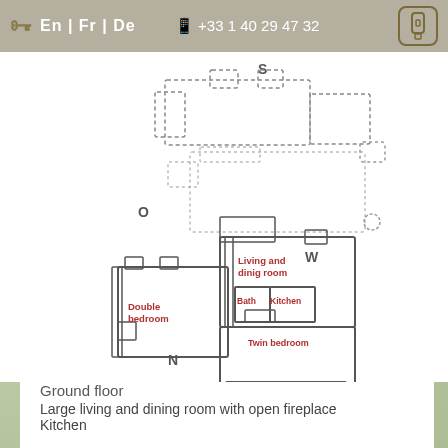En | Fr | De   +33 1 40 29 47 32
[Figure (engineering-diagram): Floor plan of a ground floor apartment showing rooms labeled: Living and dining room, Double bedroom, Bath, Kitchen, Twin bedroom. Compass directions S, O, W, N marked around the plan. Upper portion shows additional rooms in dotted outline (possibly upper floor or terrace).]
Ground floor
Large living and dining room with open fireplace
Kitchen